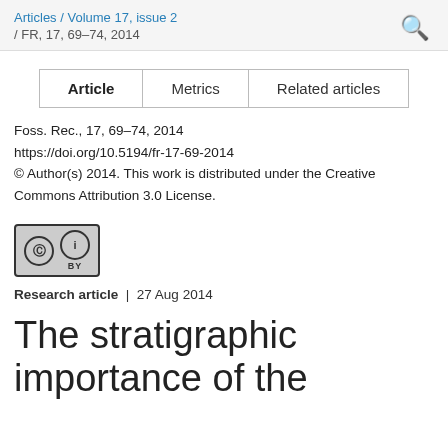Articles / Volume 17, issue 2 / FR, 17, 69–74, 2014
| Article | Metrics | Related articles |
| --- | --- | --- |
Foss. Rec., 17, 69–74, 2014
https://doi.org/10.5194/fr-17-69-2014
© Author(s) 2014. This work is distributed under the Creative Commons Attribution 3.0 License.
[Figure (logo): Creative Commons Attribution (CC BY) license badge]
Research article | 27 Aug 2014
The stratigraphic importance of the